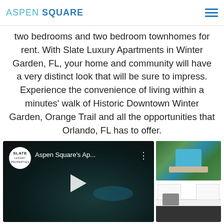ASPEN SQUARE
desirable address. Slate Luxury Apartment Living offers modern and sleek, first floor one bedrooms, two bedrooms and two bedroom townhomes for rent. With Slate Luxury Apartments in Winter Garden, FL, your home and community will have a very distinct look that will be sure to impress. Experience the convenience of living within a minutes' walk of Historic Downtown Winter Garden, Orange Trail and all the opportunities that Orlando, FL has to offer.
[Figure (screenshot): Video thumbnail for Aspen Square's Apartment tour with Slate logo circle, title 'Aspen Square's Ap...' and play button overlay on dark background]
[Figure (photo): Aerial view of apartment complex swimming pool area with palm trees and green landscaping]
[Figure (photo): Interior kitchen photo showing white cabinets, dark countertops, stainless steel appliances]